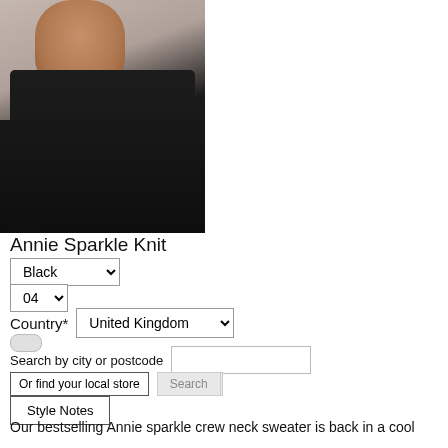[Figure (photo): Woman wearing a dark charcoal/black sparkle knit crew neck sweater against a neutral background, cropped at waist level]
£69
Annie Sparkle Knit
Black (dropdown)
04 (dropdown)
Country* United Kingdom (dropdown)
Search by city or postcode
Or find your local store | Search
Style Notes
Our bestselling Annie sparkle crew neck sweater is back in a cool